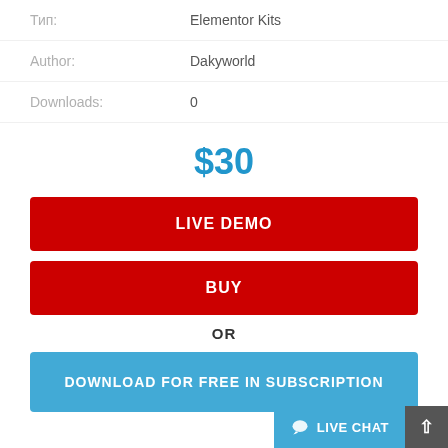Тип:   Elementor Kits
Author:   Dakyworld
Downloads:   0
$30
LIVE DEMO
BUY
OR
DOWNLOAD FOR FREE IN SUBSCRIPTION
LIVE CHAT